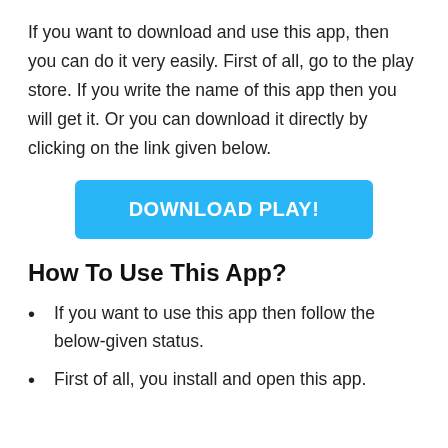If you want to download and use this app, then you can do it very easily. First of all, go to the play store. If you write the name of this app then you will get it. Or you can download it directly by clicking on the link given below.
[Figure (other): Blue button labeled DOWNLOAD PLAY!]
How To Use This App?
If you want to use this app then follow the below-given status.
First of all, you install and open this app.